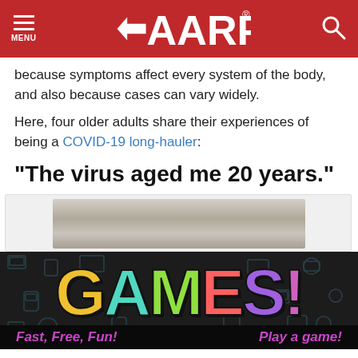AARP — Navigation header with MENU and search icon
because symptoms affect every system of the body, and also because cases can vary widely.
Here, four older adults share their experiences of being a COVID-19 long-hauler:
"The virus aged me 20 years."
[Figure (photo): Partial photo showing the top of a person's head with white/grey hair, partially visible from behind a grey box/overlay. GAMES! promotional banner overlaid beneath.]
Fast, Free, Fun!    Play a game!